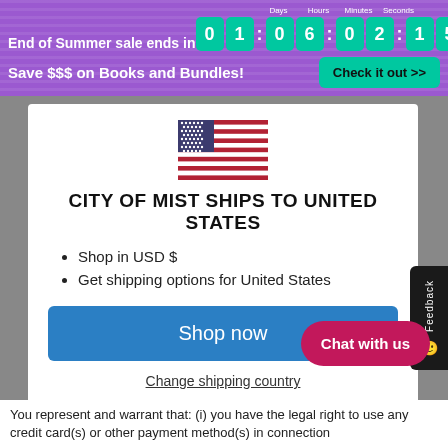End of Summer sale ends in 0 1 : 0 6 : 0 2 : 1 5
Save $$$ on Books and Bundles!
Check it out >>
[Figure (illustration): US flag SVG illustration]
CITY OF MIST SHIPS TO UNITED STATES
Shop in USD $
Get shipping options for United States
Shop now
Change shipping country
Chat with us
You represent and warrant that: (i) you have the legal right to use any credit card(s) or other payment method(s) in connection